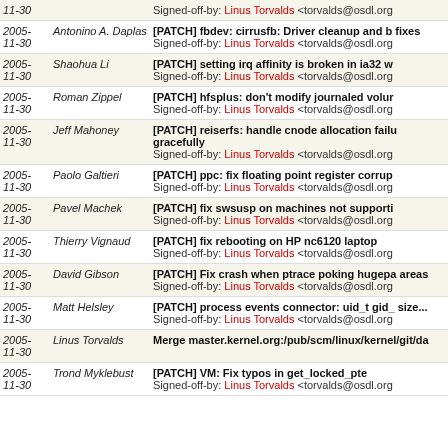| Date | Author | Message |
| --- | --- | --- |
| 2005-11-30 | Antonino A. Daplas | [PATCH] fbdev: cirrusfb: Driver cleanup and b fixes
Signed-off-by: Linus Torvalds <torvalds@osdl.org> |
| 2005-11-30 | Shaohua Li | [PATCH] setting irq affinity is broken in ia32 w
Signed-off-by: Linus Torvalds <torvalds@osdl.org> |
| 2005-11-30 | Roman Zippel | [PATCH] hfsplus: don't modify journaled volur
Signed-off-by: Linus Torvalds <torvalds@osdl.org> |
| 2005-11-30 | Jeff Mahoney | [PATCH] reiserfs: handle cnode allocation failu gracefully
Signed-off-by: Linus Torvalds <torvalds@osdl.org> |
| 2005-11-30 | Paolo Galtieri | [PATCH] ppc: fix floating point register corrup
Signed-off-by: Linus Torvalds <torvalds@osdl.org> |
| 2005-11-30 | Pavel Machek | [PATCH] fix swsusp on machines not supporti
Signed-off-by: Linus Torvalds <torvalds@osdl.org> |
| 2005-11-30 | Thierry Vignaud | [PATCH] fix rebooting on HP nc6120 laptop
Signed-off-by: Linus Torvalds <torvalds@osdl.org> |
| 2005-11-30 | David Gibson | [PATCH] Fix crash when ptrace poking hugepa areas
Signed-off-by: Linus Torvalds <torvalds@osdl.org> |
| 2005-11-30 | Matt Helsley | [PATCH] process events connector: uid_t gid_ size...
Signed-off-by: Linus Torvalds <torvalds@osdl.org> |
| 2005-11-30 | Linus Torvalds | Merge master.kernel.org:/pub/scm/linux/kernel/git/da |
| 2005-11-30 | Trond Myklebust | [PATCH] VM: Fix typos in get_locked_pte
Signed-off-by: Linus Torvalds <torvalds@osdl.org> |